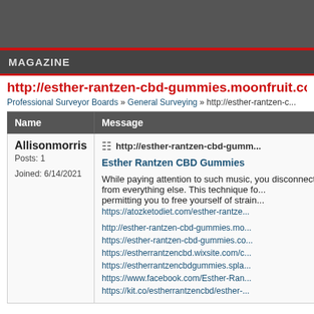MAGAZINE
http://esther-rantzen-cbd-gummies.moonfruit.com/
Professional Surveyor Boards » General Surveying » http://esther-rantzen-c...
| Name | Message |
| --- | --- |
| Allisonmorris
Posts: 1

Joined: 6/14/2021 | http://esther-rantzen-cbd-gumm...

Esther Rantzen CBD Gummies

While paying attention to such music, you disconnect from everything else. This technique fo... permitting you to free yourself of strain...
https://atozketodiet.com/esther-rantze...

http://esther-rantzen-cbd-gummies.mo...
https://esther-rantzen-cbd-gummies.co...
https://estherrantzencbd.wixsite.com/c...
https://estherrantzencbdgummies.spla...
https://www.facebook.com/Esther-Ran...
https://kit.co/estherrantzencbd/esther-... |